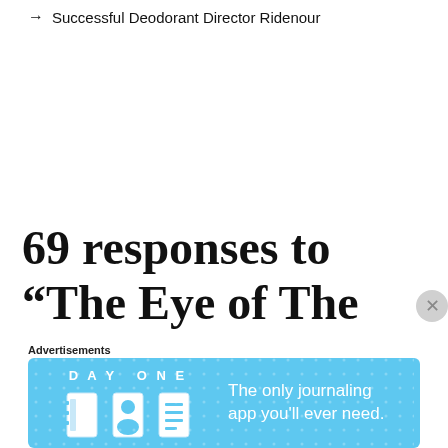→ Successful Deodorant Director Ridenour
69 responses to “The Eye of The Storm AZBN”
Advertisements
[Figure (other): DAY ONE app advertisement banner with blue background, icons of a notebook and a person, text reading 'The only journaling app you’ll ever need.']